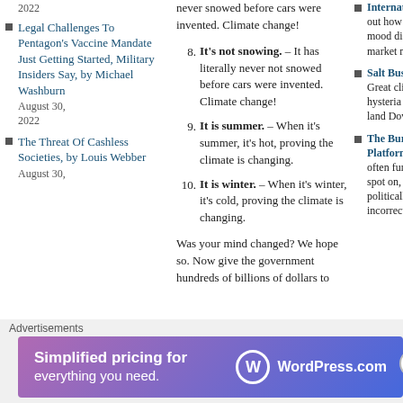2022
Legal Challenges To Pentagon's Vaccine Mandate Just Getting Started, Military Insiders Say, by Michael Washburn August 30, 2022
The Threat Of Cashless Societies, by Louis Webber August 30,
never snowed before cars were invented. Climate change!
8. It's not snowing. – It has literally never not snowed before cars were invented. Climate change!
9. It is summer. – When it's summer, it's hot, proving the climate is changing.
10. It is winter. – When it's winter, it's cold, proving the climate is changing.
Was your mind changed? We hope so. Now give the government hundreds of billions of dollars to
International Find out how social mood dictates market movements
Salt Bush Club Great climate anti-hysteria from the land Down Under
The Burning Platform Rousing, often funny, often spot on, often politically incorrect for
Advertisements
[Figure (infographic): WordPress.com advertisement banner: Simplified pricing for everything you need.]